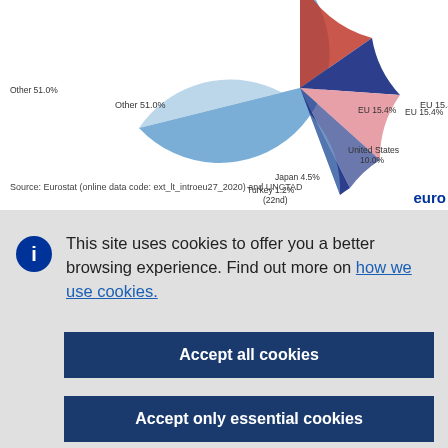[Figure (pie-chart): Two partially visible pie charts showing trade share data. Left chart labels: Other 51.0%, EU 15.4%, United States 10.0%, Japan 4.5%, Turkey 1.2% (22nd). Right chart labels: Other 60.3%, Turkey 1.5% (17th), Japan (partially visible).]
Source: Eurostat (online data code: ext_lt_introeu27_2020) and UNCTAD
This site uses cookies to offer you a better browsing experience. Find out more on how we use cookies.
Accept all cookies
Accept only essential cookies